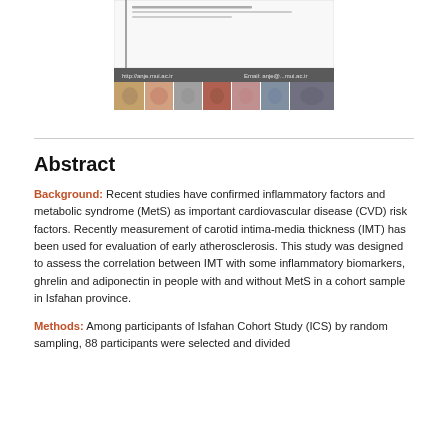[Figure (screenshot): Journal website banner showing http://anje.mui.ac.ir with colorful medical/scientific images]
Abstract
Background: Recent studies have confirmed inflammatory factors and metabolic syndrome (MetS) as important cardiovascular disease (CVD) risk factors. Recently measurement of carotid intima-media thickness (IMT) has been used for evaluation of early atherosclerosis. This study was designed to assess the correlation between IMT with some inflammatory biomarkers, ghrelin and adiponectin in people with and without MetS in a cohort sample in Isfahan province.
Methods: Among participants of Isfahan Cohort Study (ICS) by random sampling, 88 participants were selected and divided